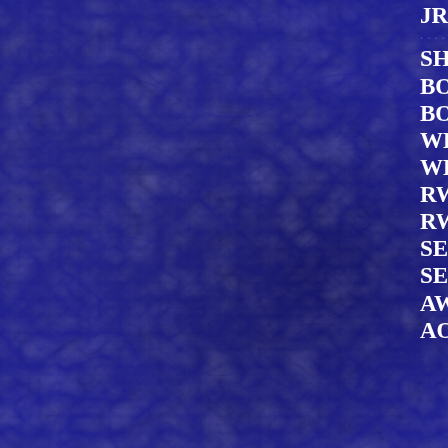JR SHOW – BEST JR HANDLER-
....................................
SHOW 2 (50)   JUDGE – ELI-MAR
BOB-- CH SANGRUD THORBJOR
BOS- GCHB  CH SILHOUETTE'S
WD-KORSDALEN SHRED THE G
WB/BOW- ELLYKA'S NORWEGIA
RWD- RIJEKA'S FANTASTIC BEA
RWB-GJONNES GAARD'S NORD
SELECT DOG-GCH CH SOL MIST
SELECT BITCH - GCH CH HIGHL
AWARDS OF MERIT –CH RPO " I
AOM – CH SNOJAGER GOOD TIM